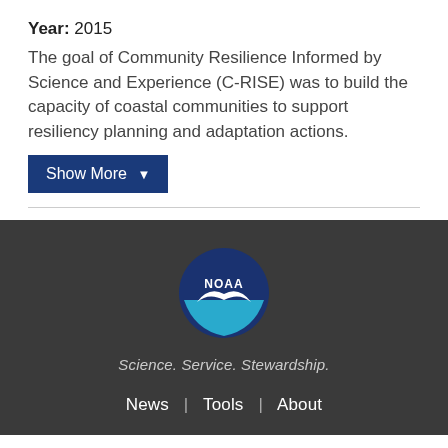Year: 2015
The goal of Community Resilience Informed by Science and Experience (C-RISE) was to build the capacity of coastal communities to support resiliency planning and adaptation actions.
Show More ▼
[Figure (logo): NOAA circular logo with eagle and text 'NOAA']
Science. Service. Stewardship.
News | Tools | About